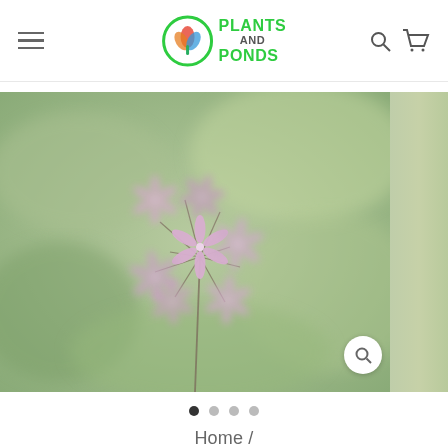Plants and Ponds - navigation header with hamburger menu, logo, search and cart icons
[Figure (photo): Close-up photo of pink/lavender star-shaped flowers (Tulbaghia / Society Garlic) on thin stems against a soft blurred green background. A partial second image is visible at the right edge. A circular zoom/search button is visible in the lower right of the main image.]
• • • •  (image carousel dots, first dot active)
Home /